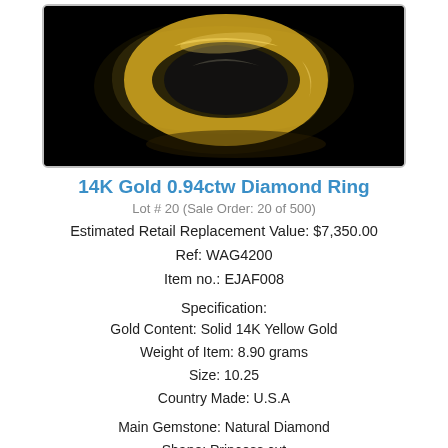[Figure (photo): Close-up photo of a 14K gold diamond ring on a black background, showing the ring at an angle highlighting its gold band.]
14K Gold 0.94ctw Diamond Ring
Lot # 20 (Sale Order: 20 of 500)
Estimated Retail Replacement Value: $7,350.00
Ref: WAG4200
Item no.: EJAF008
Specification:
Gold Content: Solid 14K Yellow Gold
Weight of Item: 8.90 grams
Size: 10.25
Country Made: U.S.A
Main Gemstone: Natural Diamond
Shape: Princess cut
Quantity: 9 counts
Total Carat Weight: 0.94ctw
Clarity Grade: SI1 - SI2
Color Grade: G – H